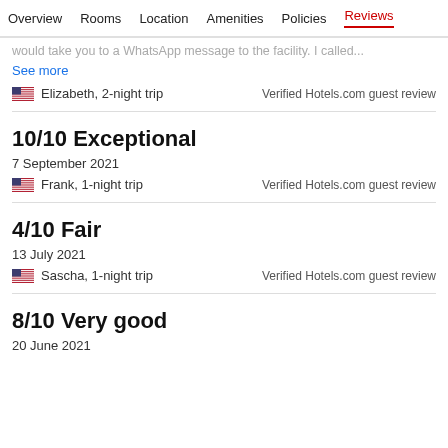Overview  Rooms  Location  Amenities  Policies  Reviews
would take you to a WhatsApp message to the facility. I called...
See more
Elizabeth, 2-night trip    Verified Hotels.com guest review
10/10 Exceptional
7 September 2021
Frank, 1-night trip    Verified Hotels.com guest review
4/10 Fair
13 July 2021
Sascha, 1-night trip    Verified Hotels.com guest review
8/10 Very good
20 June 2021